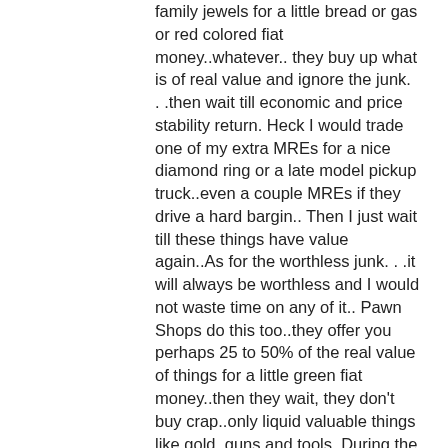family jewels for a little bread or gas or red colored fiat money..whatever.. they buy up what is of real value and ignore the junk. . .then wait till economic and price stability return. Heck I would trade one of my extra MREs for a nice diamond ring or a late model pickup truck..even a couple MREs if they drive a hard bargin.. Then I just wait till these things have value again..As for the worthless junk. . .it will always be worthless and I would not waste time on any of it.. Pawn Shops do this too..they offer you perhaps 25 to 50% of the real value of things for a little green fiat money..then they wait, they don't buy crap..only liquid valuable things like gold, guns and tools. During the coming carpetbagger days, my business model is going to be based on offering 10% of real value or less. . .I do not need to make a deal every time, all I need to skim is a few deals a week to do just fine.Â  A relative of mine (by marrage) was a mechanic who bought cars from people along route 66 during the depression. They could not afford any more gas or the thing had broken down and they had no more money to fix it. He paid